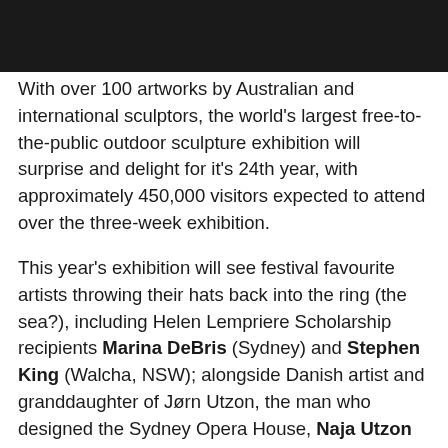With over 100 artworks by Australian and international sculptors, the world's largest free-to-the-public outdoor sculpture exhibition will surprise and delight for it's 24th year, with approximately 450,000 visitors expected to attend over the three-week exhibition.
This year's exhibition will see festival favourite artists throwing their hats back into the ring (the sea?), including Helen Lempriere Scholarship recipients Marina DeBris (Sydney) and Stephen King (Walcha, NSW); alongside Danish artist and granddaughter of Jørn Utzon, the man who designed the Sydney Opera House, Naja Utzon Popov, as the inaugural recipient of the new $15,000 Friendship Society of Denmark, Australia and New Zealand Danish Artist Award.